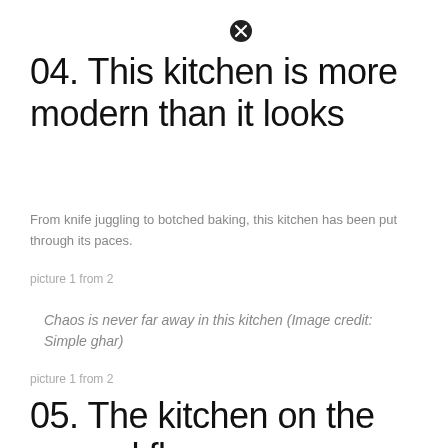04. This kitchen is more modern than it looks
From knife juggling to botched baking, this kitchen has been put through its paces.
picture 1 from 2
Chaos is never far away in this kitchen (Image credit: Simple ghar)
picture 1 from 2
05. The kitchen on the ground floor